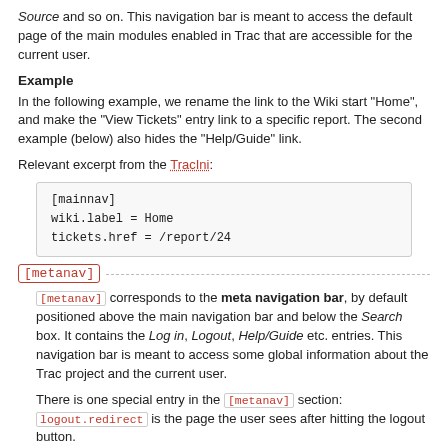Source and so on. This navigation bar is meant to access the default page of the main modules enabled in Trac that are accessible for the current user.
Example
In the following example, we rename the link to the Wiki start "Home", and make the "View Tickets" entry link to a specific report. The second example (below) also hides the "Help/Guide" link.
Relevant excerpt from the TracIni:
[mainnav]
wiki.label = Home
tickets.href = /report/24
[metanav]
[metanav] corresponds to the meta navigation bar, by default positioned above the main navigation bar and below the Search box. It contains the Log in, Logout, Help/Guide etc. entries. This navigation bar is meant to access some global information about the Trac project and the current user.
There is one special entry in the [metanav] section: logout.redirect is the page the user sees after hitting the logout button.
Example